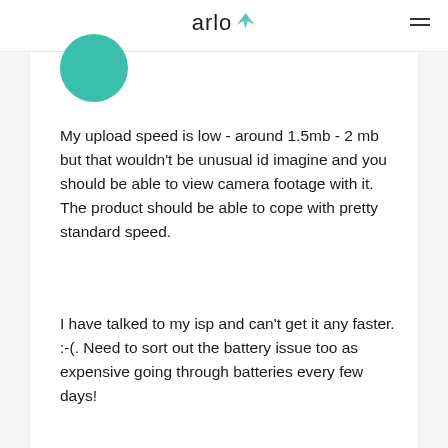arlo
My upload speed is low - around 1.5mb - 2 mb but that wouldn't be unusual id imagine and you should be able to view camera footage with it. The product should be able to cope with pretty standard speed.
I have talked to my isp and can't get it any faster. :-(. Need to sort out the battery issue too as expensive going through batteries every few days!